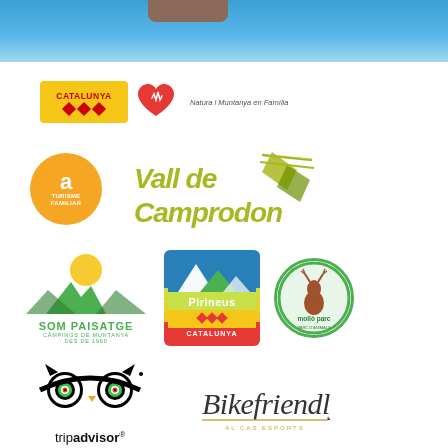[Figure (photo): Blue sky banner at top of page with partial view of a person]
[Figure (logo): Catalunya tourism logo (yellow with red diamonds) and heart logo, with text 'Natura i Muntanya en Familia']
[Figure (logo): Turisme Familiar orange circle logo]
[Figure (logo): Vall de Camprodon stylized text logo with green/yellow graphic]
[Figure (logo): Som Paisatge - Campings de Muntanya logo with mountain icon]
[Figure (logo): Pirineus Catalunya square logo with mountain and color bands]
[Figure (logo): Molló Parc circular logo with deer]
[Figure (logo): TripAdvisor owl logo with tripadvisor text]
[Figure (logo): Bikefriendly logo in script font]